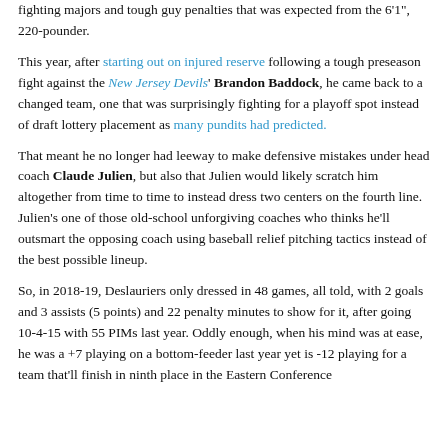fighting majors and tough guy penalties that was expected from the 6'1", 220-pounder.
This year, after starting out on injured reserve following a tough preseason fight against the New Jersey Devils' Brandon Baddock, he came back to a changed team, one that was surprisingly fighting for a playoff spot instead of draft lottery placement as many pundits had predicted.
That meant he no longer had leeway to make defensive mistakes under head coach Claude Julien, but also that Julien would likely scratch him altogether from time to time to instead dress two centers on the fourth line. Julien's one of those old-school unforgiving coaches who thinks he'll outsmart the opposing coach using baseball relief pitching tactics instead of the best possible lineup.
So, in 2018-19, Deslauriers only dressed in 48 games, all told, with 2 goals and 3 assists (5 points) and 22 penalty minutes to show for it, after going 10-4-15 with 55 PIMs last year. Oddly enough, when his mind was at ease, he was a +7 playing on a bottom-feeder last year yet is -12 playing for a team that'll finish in ninth place in the Eastern Conference